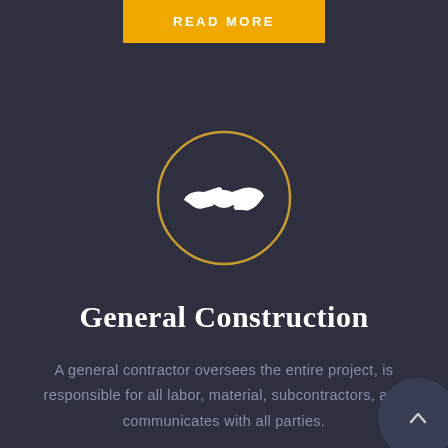READ MORE
[Figure (illustration): Circular golden-outlined icon containing a white handshake/partnership icon on dark background]
General Construction
A general contractor oversees the entire project, is responsible for all labor, material, subcontractors, and communicates with all parties.